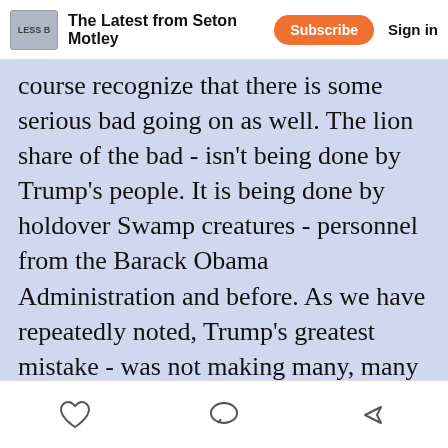The Latest from Seton Motley | Subscribe | Sign in
course recognize that there is some serious bad going on as well. The lion share of the bad - isn't being done by Trump's people. It is being done by holdover Swamp creatures - personnel from the Barack Obama Administration and before. As we have repeatedly noted, Trump's greatest mistake - was not making many, many more people leave DC when he arrived. And so it is at the Federal Trade Commission (FTC). Which because of holdover people and policies - continues to do some very bad work. To wit: January 17, 2017 - three days before being